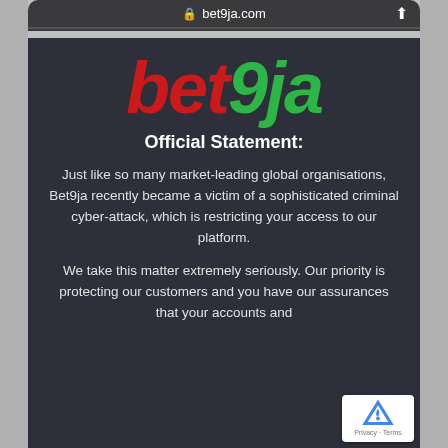bet9ja.com
[Figure (logo): bet9ja logo with 'bet' in red italic bold and '9ja' in green italic bold]
Official Statement:
Just like so many market-leading global organisations, Bet9ja recently became a victim of a sophisticated criminal cyber-attack, which is restricting your access to our platform.
We take this matter extremely seriously. Our priority is protecting our customers and you have our assurances that your accounts and